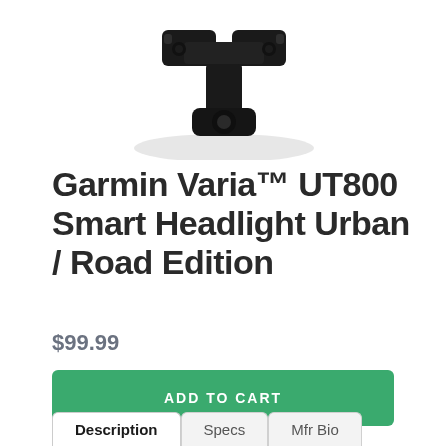[Figure (photo): Garmin Varia UT800 product image showing a black bicycle headlight mount/bracket from below, with shadow beneath it on white background]
Garmin Varia™ UT800 Smart Headlight Urban / Road Edition
$99.99
ADD TO CART
Description  Specs  Mfr Bio